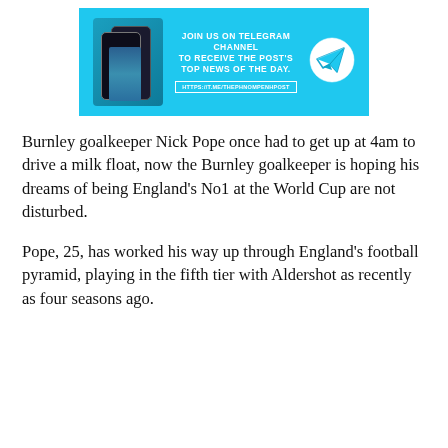[Figure (infographic): Telegram channel advertisement banner with cyan background, showing stacked phone mockups on the left, text 'JOIN US ON TELEGRAM CHANNEL TO RECEIVE THE POST'S TOP NEWS OF THE DAY.' with URL 'HTTPS://T.ME/THEPHNOMPENHPOST' in the center, and a paper airplane icon in a white circle on the right.]
Burnley goalkeeper Nick Pope once had to get up at 4am to drive a milk float, now the Burnley goalkeeper is hoping his dreams of being England's No1 at the World Cup are not disturbed.
Pope, 25, has worked his way up through England's football pyramid, playing in the fifth tier with Aldershot as recently as four seasons ago.